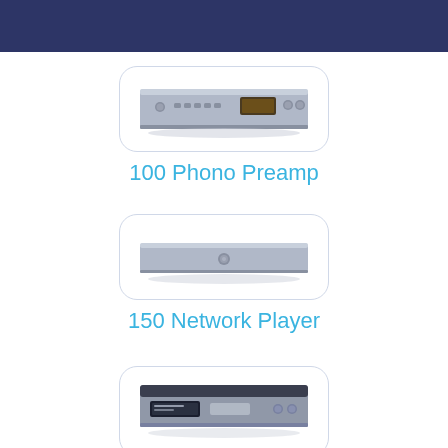[Figure (illustration): Front view of 100 Phono Preamp audio component, silver/gray unit with multiple controls and a small display]
100 Phono Preamp
[Figure (illustration): Front view of 150 Network Player audio component, slim silver unit with minimal controls]
150 Network Player
[Figure (illustration): Front view of a third audio component, dark/silver unit with display and controls]